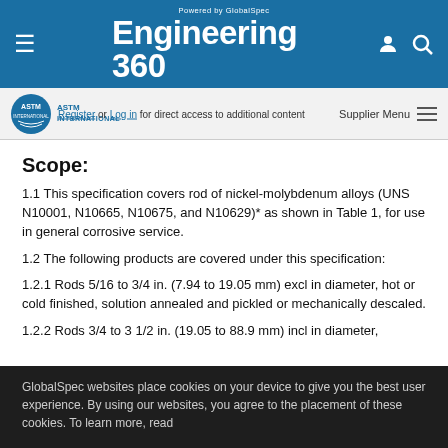Engineering 360 — Powered by GlobalSpec
Register or Log in for direct access to additional content   Supplier Menu
Scope:
1.1 This specification covers rod of nickel-molybdenum alloys (UNS N10001, N10665, N10675, and N10629)* as shown in Table 1, for use in general corrosive service.
1.2 The following products are covered under this specification:
1.2.1 Rods 5/16 to 3/4 in. (7.94 to 19.05 mm) excl in diameter, hot or cold finished, solution annealed and pickled or mechanically descaled.
1.2.2 Rods 3/4 to 3 1/2 in. (19.05 to 88.9 mm) incl in diameter,
GlobalSpec websites place cookies on your device to give you the best user experience. By using our websites, you agree to the placement of these cookies. To learn more, read